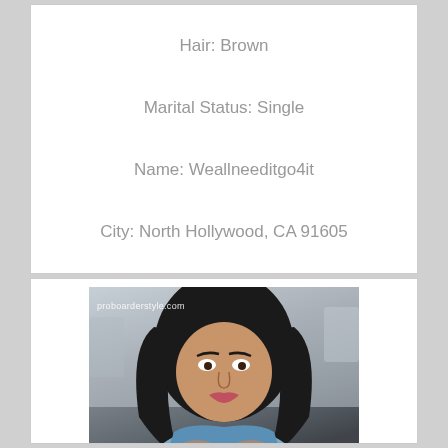Hair: Brown
Marital Status: Single
Name: Weallneeditgo4it
City: North Hollywood, CA 91605
[Figure (photo): Photo of a woman with dark hair wearing a light blue top, with watermark text 'proboarderstyle.com' at top and 'ied women ngers north' partially visible at bottom]